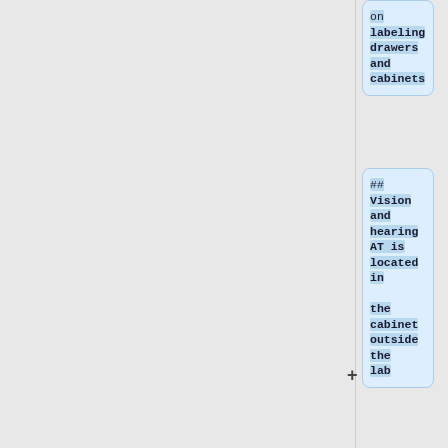on labeling drawers and cabinets
## Vision and hearing AT is located in the cabinet outside the lab
## Eating/kitchen related AT, Writing aids and bathing/dressing are in the cabinet outside the student bays